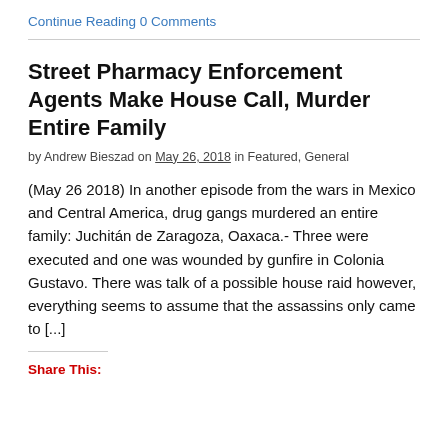Continue Reading 0 Comments
Street Pharmacy Enforcement Agents Make House Call, Murder Entire Family
by Andrew Bieszad on May 26, 2018 in Featured, General
(May 26 2018) In another episode from the wars in Mexico and Central America, drug gangs murdered an entire family: Juchitán de Zaragoza, Oaxaca.- Three were executed and one was wounded by gunfire in Colonia Gustavo. There was talk of a possible house raid however, everything seems to assume that the assassins only came to [...]
Share This: